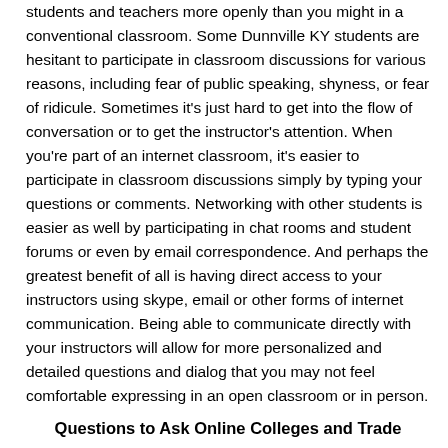students and teachers more openly than you might in a conventional classroom.  Some Dunnville KY students are hesitant to participate in classroom discussions for various reasons, including fear of public speaking, shyness, or fear of ridicule.  Sometimes it's just hard to get into the flow of conversation or to get the instructor's attention.  When you're part of an internet classroom, it's easier to participate in classroom discussions simply by typing your questions or comments.  Networking with other students is easier as well by participating in chat rooms and student forums or even by email correspondence.  And perhaps the greatest benefit of all is having direct access to your instructors using skype, email or other forms of internet communication.  Being able to communicate directly with your instructors will allow for more personalized and detailed questions and dialog that you may not feel comfortable expressing in an open classroom or in person.
Questions to Ask Online Colleges and Trade